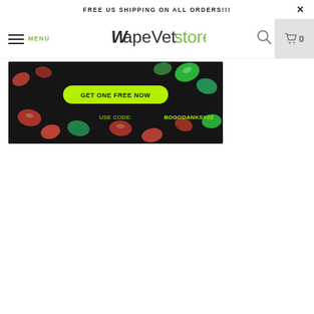FREE US SHIPPING ON ALL ORDERS!!!
VapeVetstore
[Figure (screenshot): Promotional banner on dark background with candy/gem shapes. Green pill button reads GET ONE FREE NOW. Text below reads USE CODE: BOGODANKSY22]